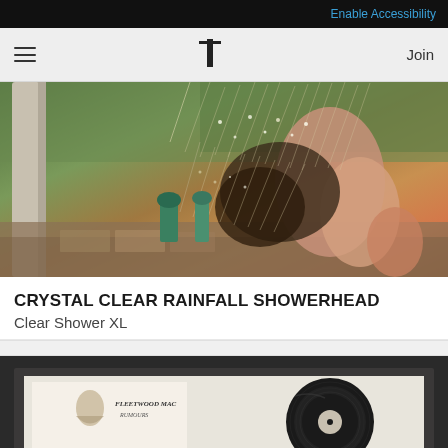Enable Accessibility
≡  T  Join
[Figure (photo): Outdoor shower scene with person rinsing their hair under a rainfall showerhead, water droplets catching golden sunlight against a garden background]
CRYSTAL CLEAR RAINFALL SHOWERHEAD
Clear Shower XL
[Figure (photo): Fleetwood Mac Rumours framed vinyl record display with album artwork and black vinyl record visible inside a dark frame]